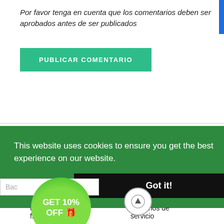Por favor tenga en cuenta que los comentarios deben ser aprobados antes de ser publicados
PUBLICAR COMENTARIO
← VOLVER A SKIN CARE
This website uses cookies to ensure you get the best experience on our website.
Learn More
Got it!
GET 10% OFF 🎁
Preguntas frecuentes
Términos de servicio